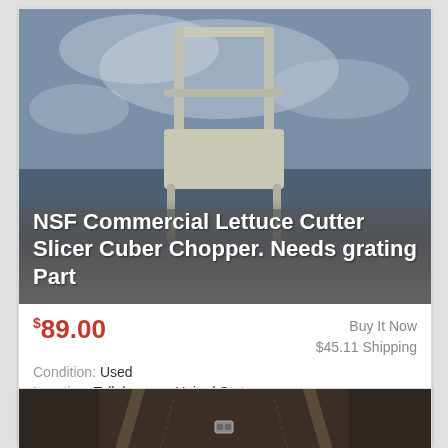[Figure (photo): Photo of an NSF commercial lettuce cutter slicer cuber chopper on a blue background, with text overlay]
NSF Commercial Lettuce Cutter Slicer Cuber Chopper. Needs grating Part
$89.00  Buy It Now  $45.11 Shipping  Condition: Used  Location: Tallahassee, United States  The rest is in fabulous condition. Parts should be available.
[Figure (photo): Partial photo of a dark brown bag with handles and a metal clasp]